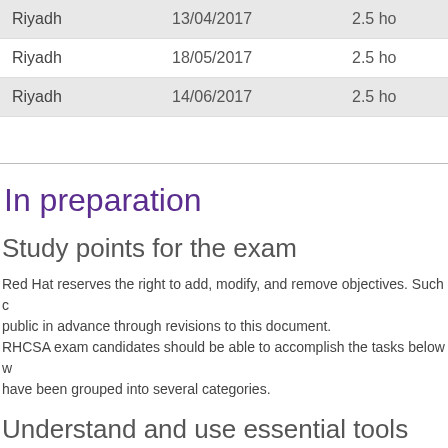| City | Date | Duration |
| --- | --- | --- |
| Riyadh | 13/04/2017 | 2.5 ho |
| Riyadh | 18/05/2017 | 2.5 ho |
| Riyadh | 14/06/2017 | 2.5 ho |
In preparation
Study points for the exam
Red Hat reserves the right to add, modify, and remove objectives. Such changes will be made public in advance through revisions to this document.
RHCSA exam candidates should be able to accomplish the tasks below without assistance. Tasks have been grouped into several categories.
Understand and use essential tools